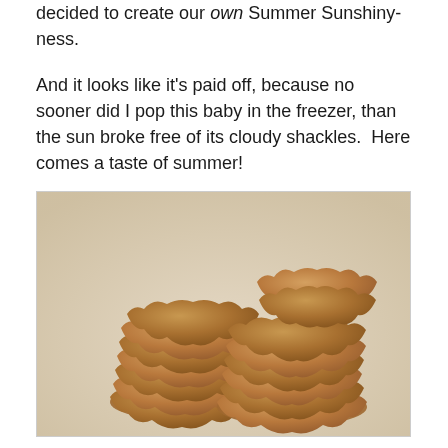decided to create our own Summer Sunshiny-ness.
And it looks like it's paid off, because no sooner did I pop this baby in the freezer, than the sun broke free of its cloudy shackles.  Here comes a taste of summer!
[Figure (photo): Two stacks of round, scalloped-edge gingerbread or spice cookies piled high on parchment paper, photographed from a slightly elevated angle.]
Normally I would tackle this project with the incredible